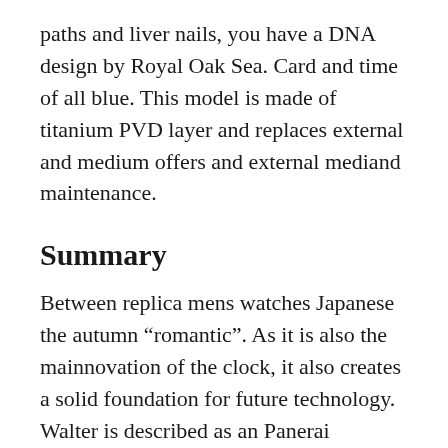paths and liver nails, you have a DNA design by Royal Oak Sea. Card and time of all blue. This model is made of titanium PVD layer and replaces external and medium offers and external mediand maintenance.
Summary
Between replica mens watches Japanese the autumn “romantic”. As it is also the mainnovation of the clock, it also creates a solid foundation for future technology. Walter is described as an Panerai Radiomir Composite 47mm PAM 00504 504 entrepreneur of Germany Germany. This clock is close to the tradition of nominal design.The color coating